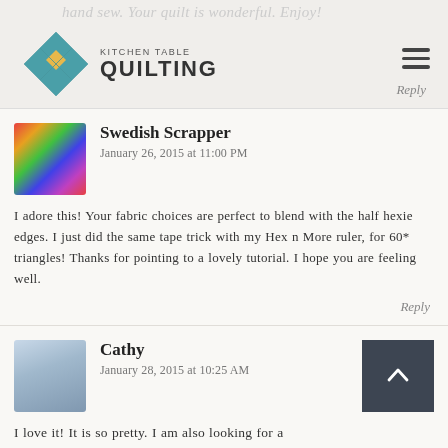hand sew. Your quilt is wonderful. Enjoy!
[Figure (logo): Kitchen Table Quilting logo with colorful diamond quilt pattern icon and text]
Reply
Swedish Scrapper
January 26, 2015 at 11:00 PM
I adore this! Your fabric choices are perfect to blend with the half hexie edges. I just did the same tape trick with my Hex n More ruler, for 60* triangles! Thanks for pointing to a lovely tutorial. I hope you are feeling well.
Reply
Cathy
January 28, 2015 at 10:25 AM
I love it! It is so pretty. I am also looking for a